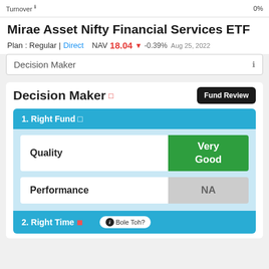Turnover 0%
Mirae Asset Nifty Financial Services ETF
Plan : Regular | Direct    NAV 18.04  -0.39% Aug 25, 2022
Decision Maker
Decision Maker
1. Right Fund
|  | Rating |
| --- | --- |
| Quality | Very Good |
| Performance | NA |
2. Right Time